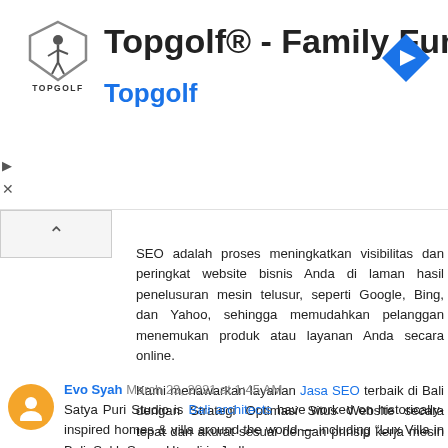[Figure (logo): Topgolf advertisement banner with logo, brand name TOPGOLF, title 'Topgolf® - Family Fun', subtitle 'Topgolf' in blue, and a navigation arrow icon on the right]
SEO adalah proses meningkatkan visibilitas dan peringkat website bisnis Anda di laman hasil penelusuran mesin telusur, seperti Google, Bing, dan Yahoo, sehingga memudahkan pelanggan menemukan produk atau layanan Anda secara online.

Kami menawarkan layanan Jasa SEO terbaik di Bali dengan Strategi Optimasi Situs Website secara tepat dan akurat sesuai dengan prinsip kerja mesin pencari.

Reply
Evo Syah March 23, 2021 at 1:45 AM
Satya Puri Studio is Bali architects have worked on historically-inspired homes & villa around the world — including "Lux Villa in Bali; Sukh Sagar Haveli in Jodhpur,